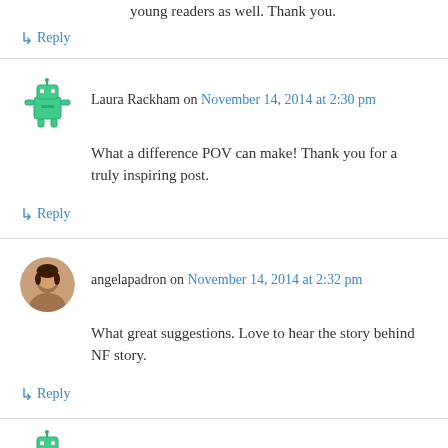young readers as well. Thank you.
↳ Reply
Laura Rackham on November 14, 2014 at 2:30 pm
What a difference POV can make! Thank you for a truly inspiring post.
↳ Reply
angelapadron on November 14, 2014 at 2:32 pm
What great suggestions. Love to hear the story behind NF story.
↳ Reply